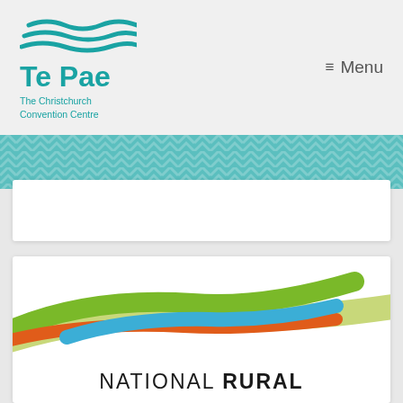[Figure (logo): Te Pae logo: teal wavy lines above the wordmark 'Te Pae' with subtitle 'The Christchurch Convention Centre']
≡ Menu
[Figure (illustration): Teal decorative chevron/herringbone patterned band]
[Figure (illustration): White card placeholder area (first card, empty)]
[Figure (logo): National Rural conference logo: swooping ribbon shapes in green, orange, blue, and light green/beige, with text 'NATIONAL RURAL' below]